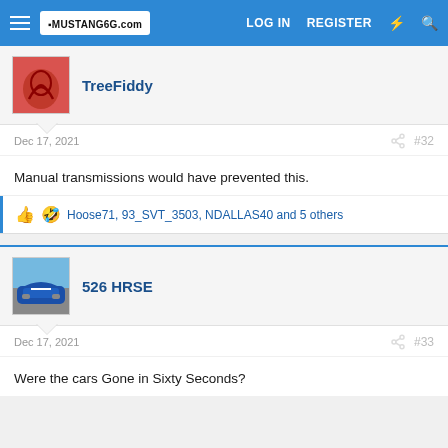MUSTANG6G.COM  LOG IN  REGISTER
TreeFiddy
Dec 17, 2021  #32
Manual transmissions would have prevented this.
Hoose71, 93_SVT_3503, NDALLAS40 and 5 others
526 HRSE
Dec 17, 2021  #33
Were the cars Gone in Sixty Seconds?